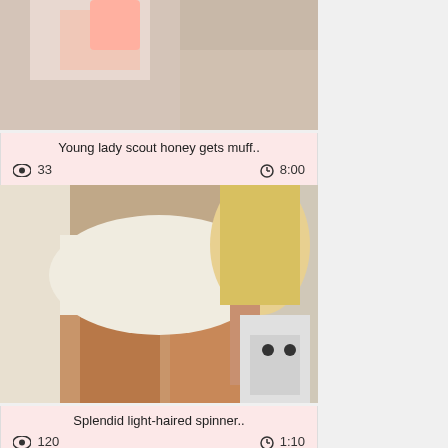[Figure (photo): Video thumbnail showing adult content - top of card 1, partially cropped]
Young lady scout honey gets muff..
33  8:00
[Figure (photo): Video thumbnail showing adult content - blonde woman in white dress]
Splendid light-haired spinner..
120  1:10
[Figure (photo): Video thumbnail showing adult content - partially visible at bottom]